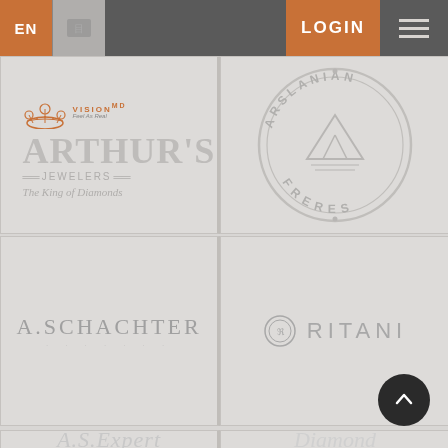EN | [lang] | LOGIN | [menu]
[Figure (logo): Arthur's Jewelers logo - The King of Diamonds, with VisionMD branding overlay and decorative crown]
[Figure (logo): Arslanian Freres circular seal logo in gray]
[Figure (logo): A. Schachter logo in gray serif text]
[Figure (logo): Ritani logo with circular icon and text in gray]
[Figure (logo): A.S.Expert logo partially visible at bottom left]
[Figure (logo): Another diamond brand logo partially visible at bottom right]